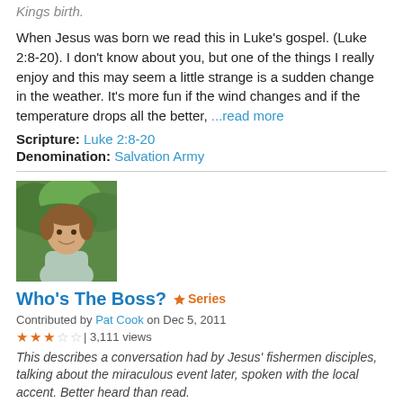Kings birth.
When Jesus was born we read this in Luke's gospel. (Luke 2:8-20). I don't know about you, but one of the things I really enjoy and this may seem a little strange is a sudden change in the weather. It's more fun if the wind changes and if the temperature drops all the better, ...read more
Scripture: Luke 2:8-20
Denomination: Salvation Army
[Figure (photo): Photo of a smiling man with brown hair outdoors with greenery in background]
Who's The Boss?  ♦ Series
Contributed by Pat Cook on Dec 5, 2011
★★★☆☆ | 3,111 views
This describes a conversation had by Jesus' fishermen disciples, talking about the miraculous event later, spoken with the local accent. Better heard than read.